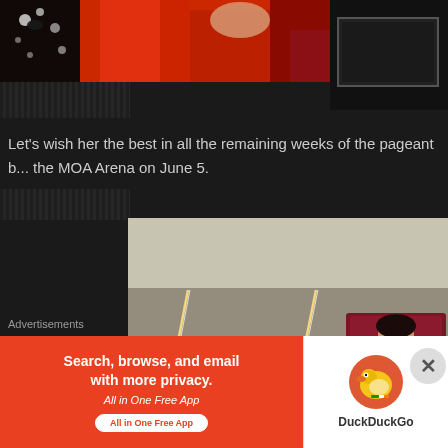[Figure (photo): Top cropped photo showing a person in a red dress against a dark background with floral elements on the left side]
[Figure (photo): Small dark panel with a dark rectangle box on the top right of the page]
Let's wish her the best in all the remaining weeks of the pageant b... the MOA Arena on June 5.
[Figure (photo): A woman in a red dress with a pageant sash sitting on a red chair in a room with diagonal light strips on the wall]
Advertisements
[Figure (screenshot): DuckDuckGo advertisement banner: Search, browse, and email with more privacy. All in One Free App. DuckDuckGo logo on the right.]